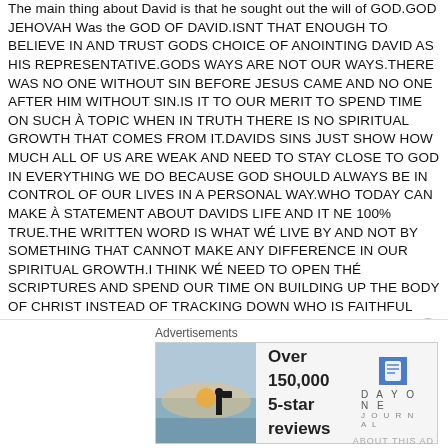The main thing about David is that he sought out the will of GOD.GOD JEHOVAH Was the GOD OF DAVID.ISNT THAT ENOUGH TO BELIEVE IN AND TRUST GODS CHOICE OF ANOINTING DAVID AS HIS REPRESENTATIVE.GODS WAYS ARE NOT OUR WAYS.THERE WAS NO ONE WITHOUT SIN BEFORE JESUS CAME AND NO ONE AFTER HIM WITHOUT SIN.IS IT TO OUR MERIT TO SPEND TIME ON SUCH À TOPIC WHEN IN TRUTH THERE IS NO SPIRITUAL GROWTH THAT COMES FROM IT.DAVIDS SINS JUST SHOW HOW MUCH ALL OF US ARE WEAK AND NEED TO STAY CLOSE TO GOD IN EVERYTHING WE DO BECAUSE GOD SHOULD ALWAYS BE IN CONTROL OF OUR LIVES IN A PERSONAL WAY.WHO TODAY CAN MAKE À STATEMENT ABOUT DAVIDS LIFE AND IT NE 100% TRUE.THE WRITTEN WORD IS WHAT WÉ LIVE BY AND NOT BY SOMETHING THAT CANNOT MAKE ANY DIFFERENCE IN OUR SPIRITUAL GROWTH.I THINK WÉ NEED TO OPEN THÉ SCRIPTURES AND SPEND OUR TIME ON BUILDING UP THE BODY OF CHRIST INSTEAD OF TRACKING DOWN WHO IS FAITHFUL AND WHO IS NOT.EVIDENTALLY DAVID WAS FORGIVEN OF HIS SINS AND HÉ AND THÉ WOMAN HAD À CHILD THAT GOD USED IN A MIGHTY WAY.HIS NAME WAS
Advertisements
[Figure (infographic): Advertisement banner for Day One Journal app showing a person photographing a sunset, with text 'Over 150,000 5-star reviews' and the Day One Journal logo with a blue book icon.]